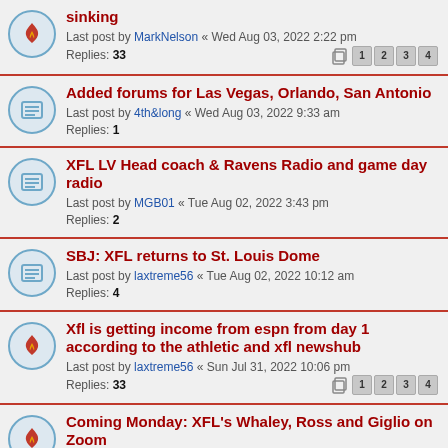sinking
Last post by MarkNelson « Wed Aug 03, 2022 2:22 pm
Replies: 33  [1][2][3][4]
Added forums for Las Vegas, Orlando, San Antonio
Last post by 4th&long « Wed Aug 03, 2022 9:33 am
Replies: 1
XFL LV Head coach & Ravens Radio and game day radio
Last post by MGB01 « Tue Aug 02, 2022 3:43 pm
Replies: 2
SBJ: XFL returns to St. Louis Dome
Last post by laxtreme56 « Tue Aug 02, 2022 10:12 am
Replies: 4
Xfl is getting income from espn from day 1 according to the athletic and xfl newshub
Last post by laxtreme56 « Sun Jul 31, 2022 10:06 pm
Replies: 33  [1][2][3][4]
Coming Monday: XFL's Whaley, Ross and Giglio on Zoom
Last post by jimbo « Sun Jul 31, 2022 1:31 pm